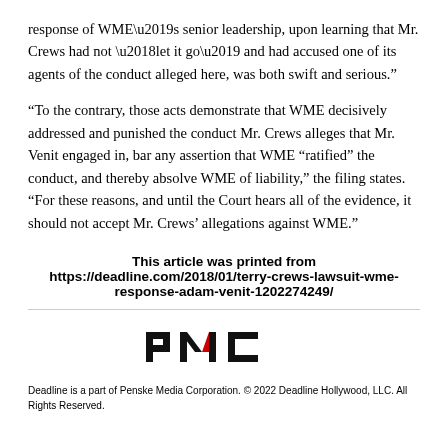response of WME’s senior leadership, upon learning that Mr. Crews had not ‘let it go’ and had accused one of its agents of the conduct alleged here, was both swift and serious.”
“To the contrary, those acts demonstrate that WME decisively addressed and punished the conduct Mr. Crews alleges that Mr. Venit engaged in, bar any assertion that WME “ratified” the conduct, and thereby absolve WME of liability,” the filing states. “For these reasons, and until the Court hears all of the evidence, it should not accept Mr. Crews’ allegations against WME.”
This article was printed from https://deadline.com/2018/01/terry-crews-lawsuit-wme-response-adam-venit-1202274249/
[Figure (logo): PMC logo in black and red]
Deadline is a part of Penske Media Corporation. © 2022 Deadline Hollywood, LLC. All Rights Reserved.